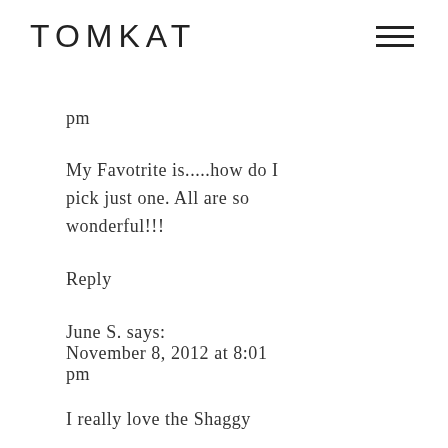TOMKAT
pm
My Favotrite is.....how do I pick just one. All are so wonderful!!!
Reply
June S. says:
November 8, 2012 at 8:01 pm
I really love the Shaggy